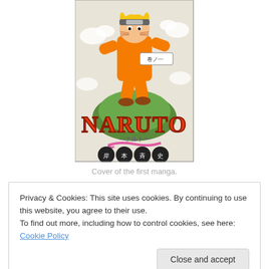[Figure (illustration): Cover of the first Naruto manga volume, showing Naruto in orange jumpsuit with Japanese characters and NARUTO logo]
Cover of the first manga.
Privacy & Cookies: This site uses cookies. By continuing to use this website, you agree to their use.
To find out more, including how to control cookies, see here: Cookie Policy
true Shinobi with Ninjutsu and Thaijustsu for days. You got